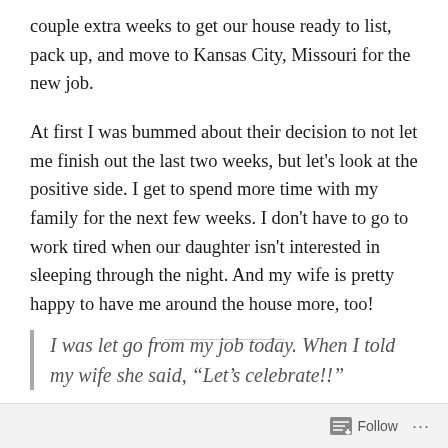couple extra weeks to get our house ready to list, pack up, and move to Kansas City, Missouri for the new job.
At first I was bummed about their decision to not let me finish out the last two weeks, but let's look at the positive side. I get to spend more time with my family for the next few weeks. I don't have to go to work tired when our daughter isn't interested in sleeping through the night. And my wife is pretty happy to have me around the house more, too!
I was let go from my job today. When I told my wife she said, “Let’s celebrate!!”
Follow ···